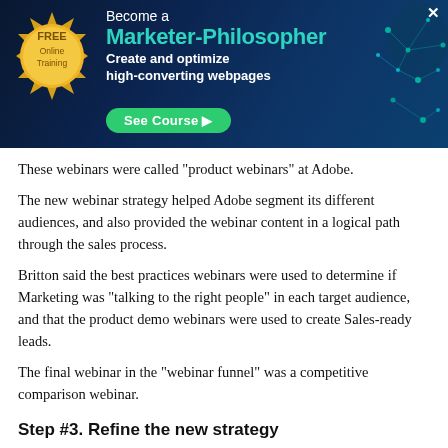[Figure (infographic): Banner advertisement for 'FREE Online Training – Become a Marketer-Philosopher: Create and optimize high-converting webpages' with a See Course button, gold seal on left, and network graphic on right. Close X button in top-right corner.]
These webinars were called "product webinars" at Adobe.
The new webinar strategy helped Adobe segment its different audiences, and also provided the webinar content in a logical path through the sales process.
Britton said the best practices webinars were used to determine if Marketing was "talking to the right people" in each target audience, and that the product demo webinars were used to create Sales-ready leads.
The final webinar in the "webinar funnel" was a competitive comparison webinar.
Step #3. Refine the new strategy
One result of offering webinar "tracks" to different segments was the team was offering a wide range of webinar tracks, all